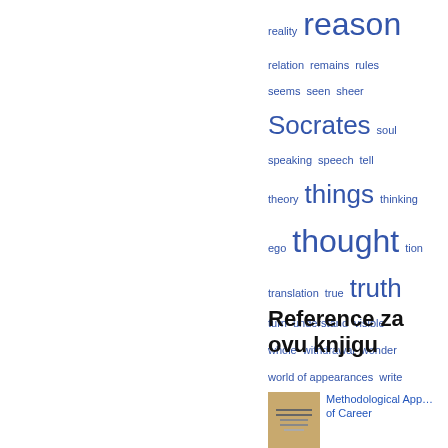[Figure (infographic): Word cloud in blue showing philosophical/academic terms of varying sizes: reality, reason (large), relation, remains, rules, seems, seen, sheer, Socrates (large), soul, speaking, speech, tell, theory, things (large), thinking, ego, thought (large), tion, translation, true, truth (large), turn, understand, visible, whole, withdrawal, wonder, world of appearances, write, York]
Reference za ovu knjigu
[Figure (photo): Book cover thumbnail in tan/beige with small text lines, next to text 'Methodological App... of Career']